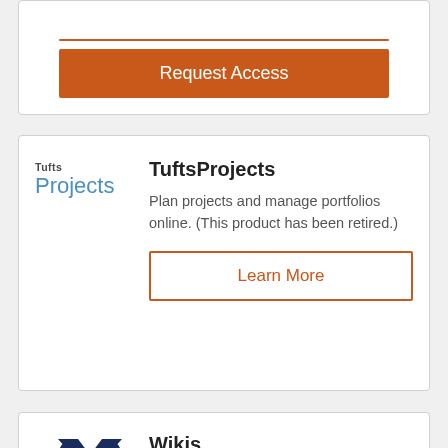[Figure (other): Orange 'Request Access' button at top of page]
[Figure (logo): Tufts Projects logo — 'Tufts' in small bold dark text above 'Projects' in blue]
TuftsProjects
Plan projects and manage portfolios online. (This product has been retired.)
[Figure (other): Orange outlined 'Learn More' button]
[Figure (logo): Wikis logo — dark navy blue stylized X/crossing arrows icon]
Wikis
Create private collaborative websites that can be edited and maintained online by multiple users (Similar to: Wikipedia). Wikis can be made